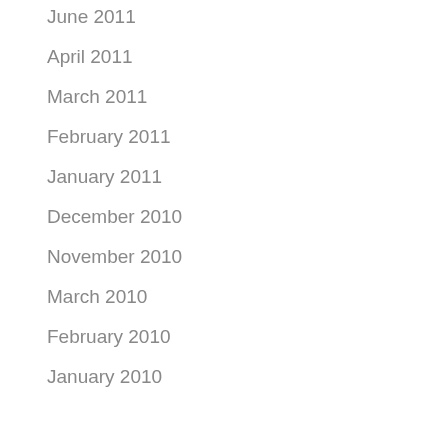June 2011
April 2011
March 2011
February 2011
January 2011
December 2010
November 2010
March 2010
February 2010
January 2010